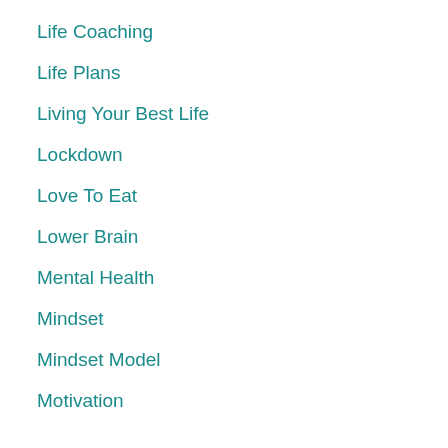Life Coaching
Life Plans
Living Your Best Life
Lockdown
Love To Eat
Lower Brain
Mental Health
Mindset
Mindset Model
Motivation